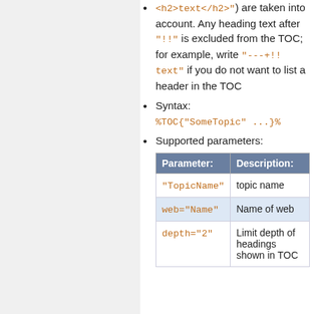<h2>text</h2>") are taken into account. Any heading text after "!!" is excluded from the TOC; for example, write "---+!! text" if you do not want to list a header in the TOC
Syntax: %TOC{"SomeTopic" ...}%
Supported parameters:
| Parameter: | Description: |
| --- | --- |
| "TopicName" | topic name |
| web="Name" | Name of web |
| depth="2" | Limit depth of headings shown in TOC |